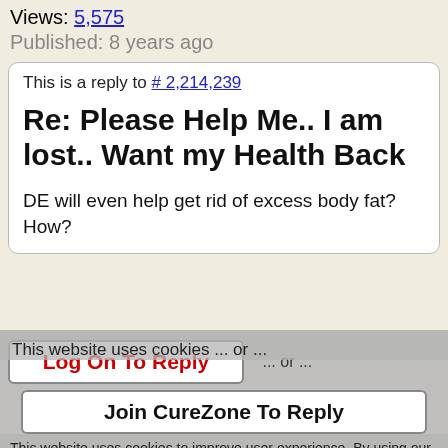Views: 5,575
Published: 8 years ago
This is a reply to # 2,214,239
Re: Please Help Me.. I am lost.. Want my Health Back
DE will even help get rid of excess body fat? How?
Log On To Reply
... or ...
Join CureZone To Reply
This website uses cookies to improve user experience. By using our website you consent to all cookies in accordance with our Cookie Policy.
I agree
I disagree
Read more
Sign Up to see what your friends like.